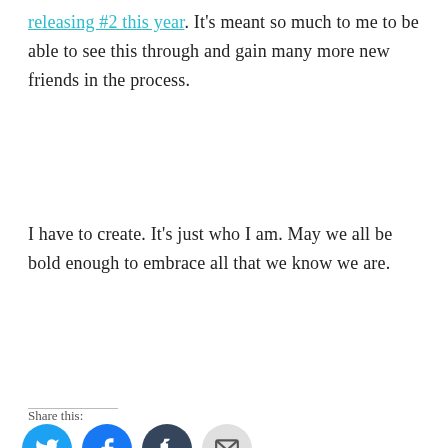releasing #2 this year. It's meant so much to me to be able to see this through and gain many more new friends in the process.
I have to create. It's just who I am. May we all be bold enough to embrace all that we know we are.
Share this:
[Figure (infographic): Social share icons: Twitter (blue), Facebook (blue), Tumblr (dark blue), Email (grey)]
Related
[Figure (photo): A person with long hair against a background of trees and warm golden light]
Organization: What To Do...
...when you have more projects and obligations